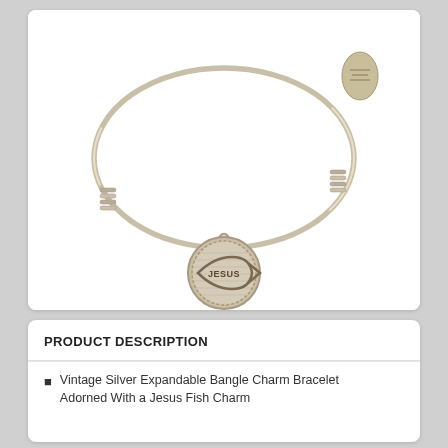[Figure (photo): Silver expandable bangle charm bracelet with a circular medallion charm engraved with 'JESUS' inside a fish symbol (Ichthys). The bracelet is shown on a white background. A small branded oval tag is visible on the upper right of the bracelet.]
PRODUCT DESCRIPTION
Vintage Silver Expandable Bangle Charm Bracelet Adorned With a Jesus Fish Charm